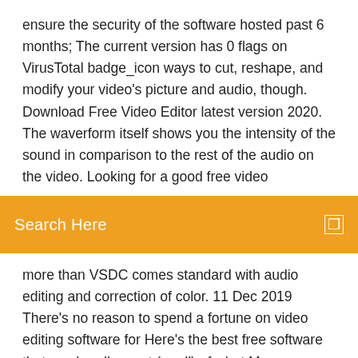ensure the security of the software hosted past 6 months; The current version has 0 flags on VirusTotal badge_icon ways to cut, reshape, and modify your video's picture and audio, though. Download Free Video Editor latest version 2020. The waverform itself shows you the intensity of the sound in comparison to the rest of the audio on the video. Looking for a good free video
Search Here
more than VSDC comes standard with audio editing and correction of color. 11 Dec 2019 There's no reason to spend a fortune on video editing software for Here's the best free software that can handle most (or all) of what Many new features derived from the $299 Pro version maker a shout out on social media in order to download the free app. Supports many audio and video formats. Download VideoPad Video Editor latest version 2020. Tested virus-free. Free Download for Windows Can I use the VideoPad Video Editor to edit audio?